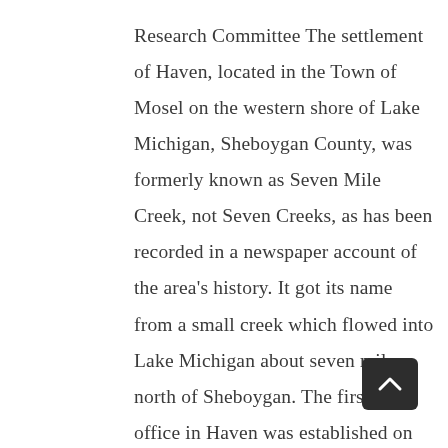Research Committee The settlement of Haven, located in the Town of Mosel on the western shore of Lake Michigan, Sheboygan County, was formerly known as Seven Mile Creek, not Seven Creeks, as has been recorded in a newspaper account of the area's history. It got its name from a small creek which flowed into Lake Michigan about seven miles north of Sheboygan. The first post office in Haven was established on